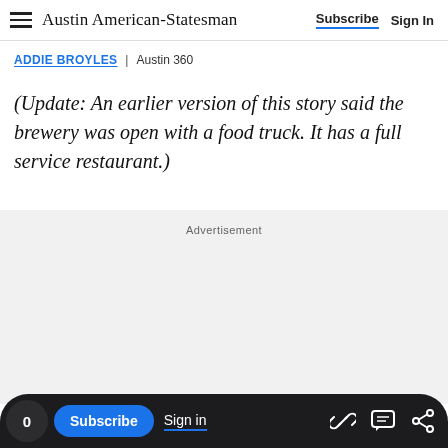Austin American-Statesman — Subscribe | Sign In
ADDIE BROYLES | Austin 360
(Update: An earlier version of this story said the brewery was open with a food truck. It has a full service restaurant.)
Advertisement
0  Subscribe  Sign in  [link icon] [comment icon] [share icon]